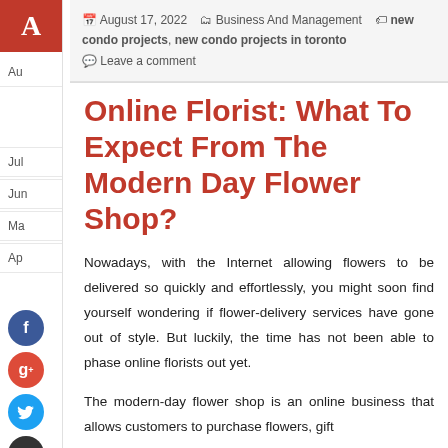A
August 17, 2022  Business And Management  new condo projects, new condo projects in toronto  Leave a comment
Online Florist: What To Expect From The Modern Day Flower Shop?
Nowadays, with the Internet allowing flowers to be delivered so quickly and effortlessly, you might soon find yourself wondering if flower-delivery services have gone out of style. But luckily, the time has not been able to phase online florists out yet.
The modern-day flower shop is an online business that allows customers to purchase flowers, gift